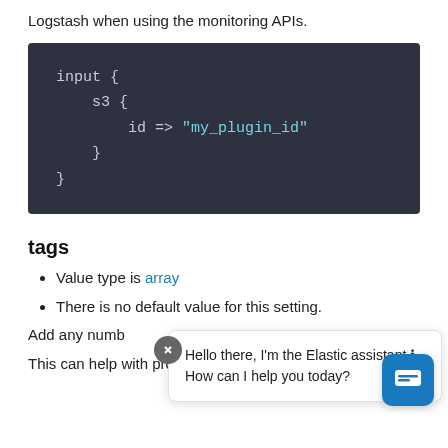Logstash when using the monitoring APIs.
[Figure (screenshot): Code block showing Logstash input configuration with s3 plugin and id set to my_plugin_id]
tags
Value type is array
There is no default value for this setting.
Add any numb  t.
This can help with processing later.